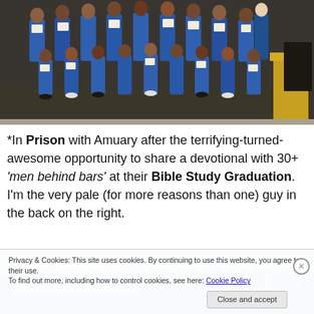[Figure (photo): Group photo of approximately 30+ men in blue shirts/uniforms holding white certificates, seated and standing in rows, taken indoors at what appears to be a prison Bible Study Graduation ceremony.]
*In Prison with Amuary after the terrifying-turned-awesome opportunity to share a devotional with 30+ 'men behind bars' at their Bible Study Graduation.  I'm the very pale (for more reasons than one) guy in the back on the right.
[Figure (photo): Partial photo showing what appears to be a prison facility exterior with blue walls and metal structures.]
Privacy & Cookies: This site uses cookies. By continuing to use this website, you agree to their use.
To find out more, including how to control cookies, see here: Cookie Policy